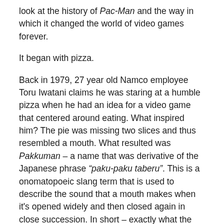look at the history of Pac-Man and the way in which it changed the world of video games forever.
It began with pizza.
Back in 1979, 27 year old Namco employee Toru Iwatani claims he was staring at a humble pizza when he had an idea for a video game that centered around eating. What inspired him? The pie was missing two slices and thus resembled a mouth. What resulted was Pakkuman – a name that was derivative of the Japanese phrase “paku-paku taberu”. This is a onomatopoeic slang term that is used to describe the sound that a mouth makes when it’s opened widely and then closed again in close succession. In short – exactly what the Pac-Man character does to eat up his delicious dots. Speaking of eating, the inspiration behind Pac-Man consuming food to gain power was reportedly derived from Popeye.
Up until this point in time, the most popular arcade